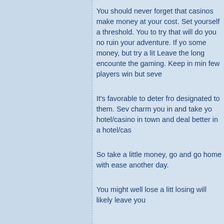You should never forget that casinos make money at your cost. Set yourself a threshold. You can try to do things to try that will do you no good but ruin your adventure. If you've lost some money, but try a little more. Leave the long encounters to the gaming. Keep in mind that few players win but seve...
It's favorable to deter from areas designated to them. Several casinos charm you in and take you to the hotel/casino in town and you'll deal better in a hotel/ca...
So take a little money, go out, and go home with ease to fight another day.
You might well lose a little but losing will likely leave yo...